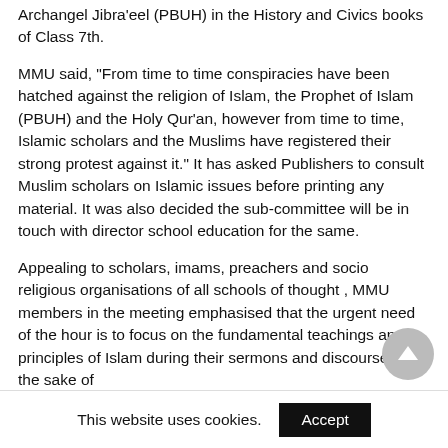Archangel Jibra'eel (PBUH) in the History and Civics books of Class 7th.
MMU said, “From time to time conspiracies have been hatched against the religion of Islam, the Prophet of Islam (PBUH) and the Holy Qur’an, however from time to time, Islamic scholars and the Muslims have registered their strong protest against it.” It has asked Publishers to consult Muslim scholars on Islamic issues before printing any material. It was also decided the sub-committee will be in touch with director school education for the same.
Appealing to scholars, imams, preachers and socio religious organisations of all schools of thought , MMU members in the meeting emphasised that the urgent need of the hour is to focus on the fundamental teachings and principles of Islam during their sermons and discourses, for the sake of
This website uses cookies.